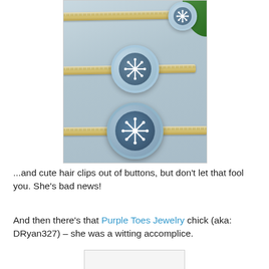[Figure (photo): Three blue button hair clips with white snowflake decorations on bobby pins, arranged on a light grey surface with a green leaf in the top right corner.]
...and cute hair clips out of buttons, but don’t let that fool you. She’s bad news!
And then there’s that Purple Toes Jewelry chick (aka: DRyan327) – she was a witting accomplice.
[Figure (photo): Partially visible image at bottom of page (cropped).]